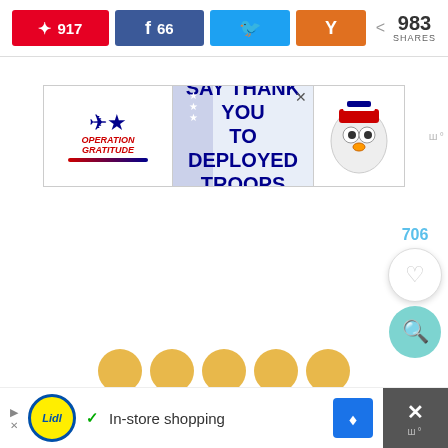[Figure (screenshot): Social share bar with Pinterest (917), Facebook (66), Twitter, Hacker News buttons and 983 total shares]
[Figure (infographic): Operation Gratitude advertisement banner: SAY THANK YOU TO DEPLOYED TROOPS]
[Figure (infographic): Like button with count 706 and search button on right side]
[Figure (infographic): Bottom ad bar: Lidl logo, In-store shopping, directions button]